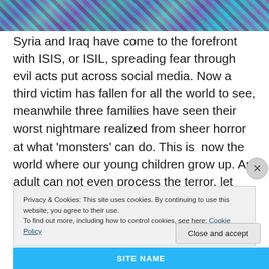[Figure (photo): Colorful woven textile with zigzag pattern in teal, purple, and blue tones — cropped strip at top of page]
Syria and Iraq have come to the forefront with ISIS, or ISIL, spreading fear through evil acts put across social media. Now a third victim has fallen for all the world to see, meanwhile three families have seen their worst nightmare realized from sheer horror at what ‘monsters’ can do. This is  now the world where our young children grow up. An adult can not even process the terror, let alone the mind of someone who trusts them to know right from wrong. Unfortunately they get to “see” the evil and it
Privacy & Cookies: This site uses cookies. By continuing to use this website, you agree to their use.
To find out more, including how to control cookies, see here: Cookie Policy
Close and accept